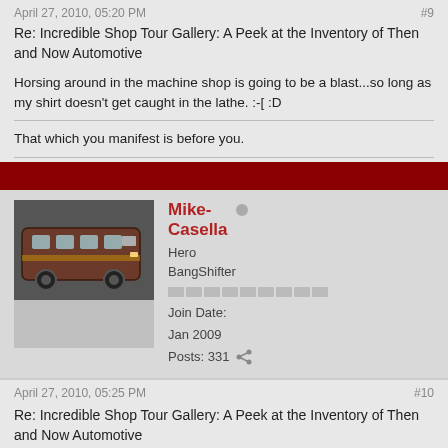April 27, 2010, 05:20 PM  #9
Re: Incredible Shop Tour Gallery: A Peek at the Inventory of Then and Now Automotive
Horsing around in the machine shop is going to be a blast...so long as my shirt doesn't get caught in the lathe. :-[ :D
That which you manifest is before you.
Mike-Casella
Hero BangShifter
Join Date: Jan 2009
Posts: 331
April 27, 2010, 05:25 PM  #10
Re: Incredible Shop Tour Gallery: A Peek at the Inventory of Then and Now Automotive
I wouldn't be worried about the lathe as much as the rollers used for